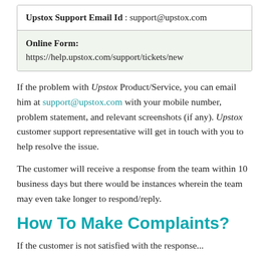| Upstox Support Email Id : support@upstox.com |
| Online Form:
https://help.upstox.com/support/tickets/new |
If the problem with Upstox Product/Service, you can email him at support@upstox.com with your mobile number, problem statement, and relevant screenshots (if any). Upstox customer support representative will get in touch with you to help resolve the issue.
The customer will receive a response from the team within 10 business days but there would be instances wherein the team may even take longer to respond/reply.
How To Make Complaints?
If the customer is not satisfied with the response...